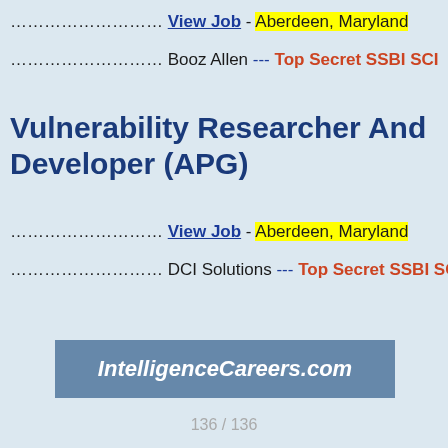………………… View Job - Aberdeen, Maryland
………………… Booz Allen --- Top Secret SSBI SCI
Vulnerability Researcher And Developer (APG)
………………… View Job - Aberdeen, Maryland
………………… DCI Solutions --- Top Secret SSBI SCI
[Figure (other): IntelligenceCareers.com banner in steel blue background with white italic bold text]
136 / 136